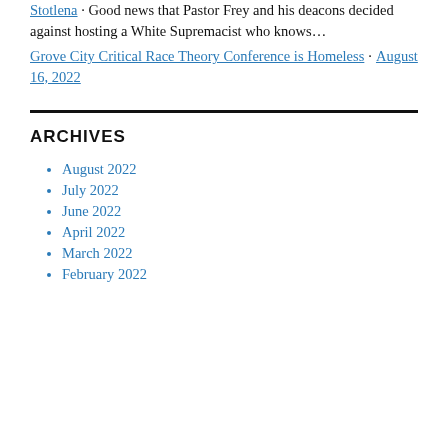Stotlena · Good news that Pastor Frey and his deacons decided against hosting a White Supremacist who knows…
Grove City Critical Race Theory Conference is Homeless · August 16, 2022
ARCHIVES
August 2022
July 2022
June 2022
April 2022
March 2022
February 2022